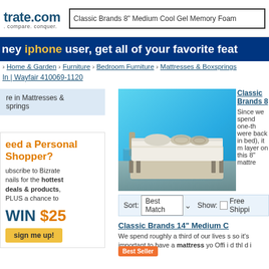trate.com | Classic Brands 8" Medium Cool Gel Memory Foam
hey iphone user, get all of your favorite feat
> Home & Garden > Furniture > Bedroom Furniture > Mattresses & Boxsprings
In | Wayfair 410069-1120
re in Mattresses & springs
eed a Personal Shopper?
ubscribe to Bizrate mails for the hottest deals & products, PLUS a chance to WIN $25
sign me up!
[Figure (photo): Bed with white mattress on gray frame against blue wall with pillows]
Classic Brands 8"
Since we spend one-th were back in bed), it m layer on this 8" mattre
Sort: Best Match | Show: Free Shippi
Classic Brands 14" Medium G
We spend roughly a third of our lives s so it's important to have a mattress yo Offi i d thl d i